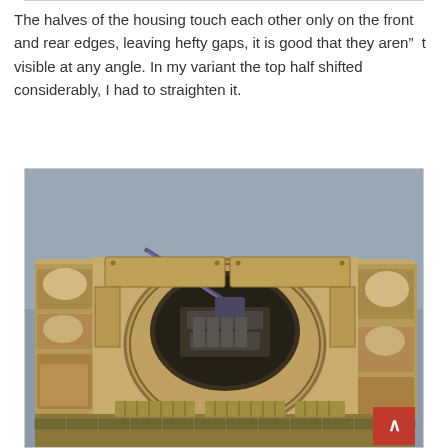The halves of the housing touch each other only on the front and rear edges, leaving hefty gaps, it is good that they aren”  t visible at any angle. In my variant the top half shifted considerably, I had to straighten it.
[Figure (photo): Top-down view of a detailed military tank scale model (likely an M1 Abrams or similar), painted in desert tan/olive drab. The open hatch/turret area is visible with internal details including a machine gun. Various stowage items, bags, and equipment are modeled on the hull sides. A red scroll-to-top button is visible in the bottom-right corner of the image.]